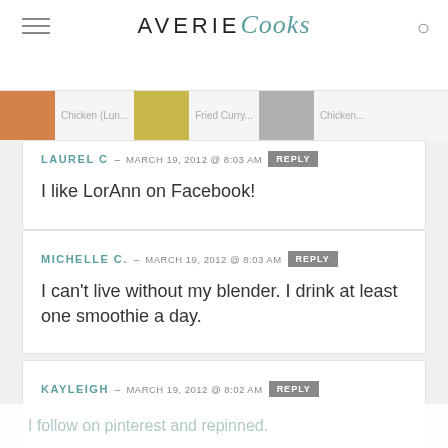AVERIE Cooks
LAUREL C – MARCH 19, 2012 @ 8:03 AM | REPLY
I like LorAnn on Facebook!
MICHELLE C. – MARCH 19, 2012 @ 8:03 AM | REPLY
I can't live without my blender. I drink at least one smoothie a day.
KAYLEIGH – MARCH 19, 2012 @ 8:02 AM | REPLY
I follow on pinterest and repinned.